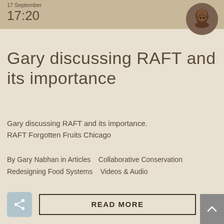17 September 17:20
[Figure (photo): Circular avatar photo of a bearded man]
Gary discussing RAFT and its importance
Gary discussing RAFT and its importance. RAFT Forgotten Fruits Chicago
By Gary Nabhan in Articles   Collaborative Conservation   Redesigning Food Systems   Videos & Audio
READ MORE